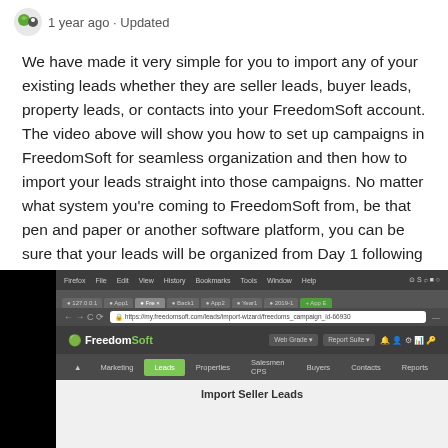1 year ago · Updated
We have made it very simple for you to import any of your existing leads whether they are seller leads, buyer leads, property leads, or contacts into your FreedomSoft account. The video above will show you how to set up campaigns in FreedomSoft for seamless organization and then how to import your leads straight into those campaigns. No matter what system you're coming to FreedomSoft from, be that pen and paper or another software platform, you can be sure that your leads will be organized from Day 1 following our import steps.
[Figure (screenshot): Browser screenshot showing FreedomSoft web application with Import Seller Leads page open]